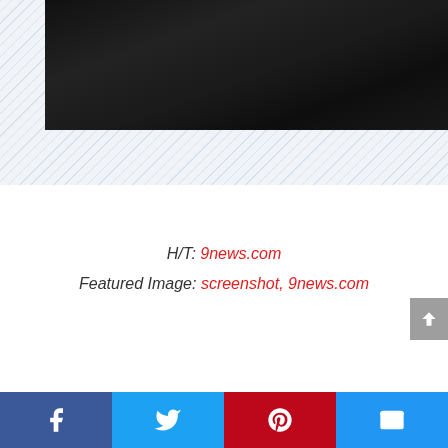[Figure (photo): Dark partially visible image at top of page, appearing to be a news screenshot, with diagonal stripe background behind it]
H/T: 9news.com
Featured Image: screenshot, 9news.com